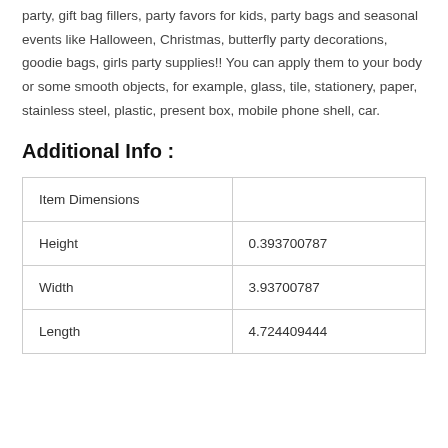party, gift bag fillers, party favors for kids, party bags and seasonal events like Halloween, Christmas, butterfly party decorations, goodie bags, girls party supplies!! You can apply them to your body or some smooth objects, for example, glass, tile, stationery, paper, stainless steel, plastic, present box, mobile phone shell, car.
Additional Info :
| Item Dimensions |  |
| --- | --- |
| Height | 0.393700787 |
| Width | 3.93700787 |
| Length | 4.724409444 |